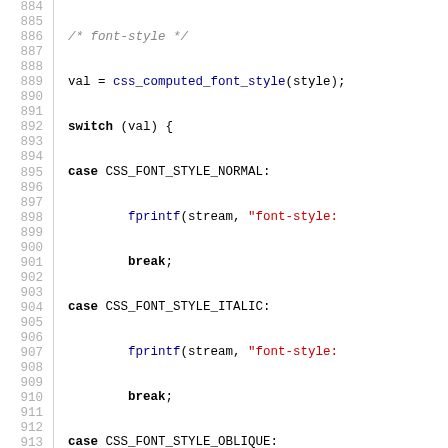[Figure (screenshot): Source code listing (C language) showing lines 884-913, with line numbers on the left and syntax-highlighted code on the right. Keywords are bold black, function names are blue, string literals are red, and comments are grey italic.]